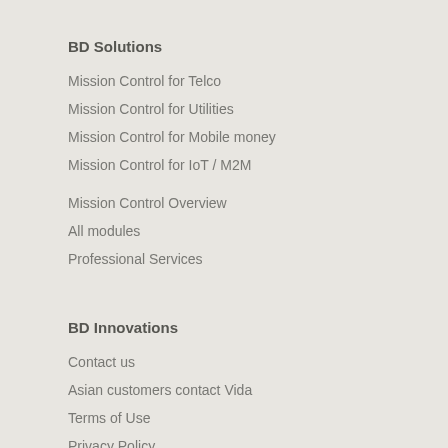BD Solutions
Mission Control for Telco
Mission Control for Utilities
Mission Control for Mobile money
Mission Control for IoT / M2M
Mission Control Overview
All modules
Professional Services
BD Innovations
Contact us
Asian customers contact Vida
Terms of Use
Privacy Policy